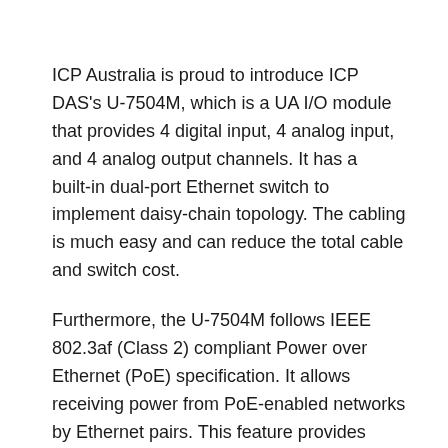ICP Australia is proud to introduce ICP DAS's U-7504M, which is a UA I/O module that provides 4 digital input, 4 analog input, and 4 analog output channels. It has a built-in dual-port Ethernet switch to implement daisy-chain topology. The cabling is much easy and can reduce the total cable and switch cost.
Furthermore, the U-7504M follows IEEE 802.3af (Class 2) compliant Power over Ethernet (PoE) specification. It allows receiving power from PoE-enabled networks by Ethernet pairs. This feature provides greater flexibility and efficiency to simplify system design, save space, and reduce wirings and power sockets. The module provides a Web UI to configure/control/monitor the module...